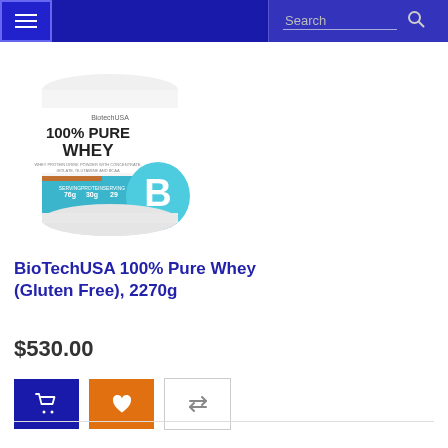Navigation bar with menu button and search
[Figure (photo): BioTechUSA 100% Pure Whey protein powder container, white and blue, with large 'B' logo on front, 2270g size]
BioTechUSA 100% Pure Whey (Gluten Free), 2270g
$530.00
[Figure (other): Three action buttons: add to cart (blue, shopping cart icon), add to wishlist (orange, heart icon), compare (white, compare arrows icon)]